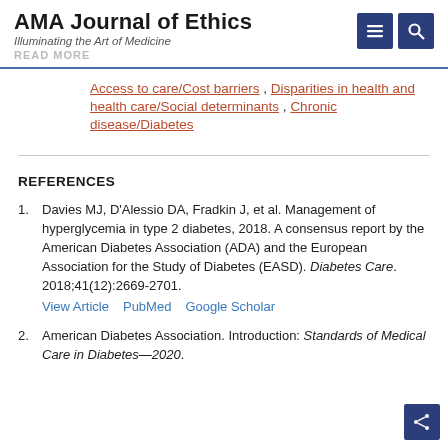AMA Journal of Ethics — Illuminating the Art of Medicine
Access to care/Cost barriers, Disparities in health and health care/Social determinants, Chronic disease/Diabetes
REFERENCES
1. Davies MJ, D'Alessio DA, Fradkin J, et al. Management of hyperglycemia in type 2 diabetes, 2018. A consensus report by the American Diabetes Association (ADA) and the European Association for the Study of Diabetes (EASD). Diabetes Care. 2018;41(12):2669-2701. View Article  PubMed  Google Scholar
2. American Diabetes Association. Introduction: Standards of Medical Care in Diabetes—2020.